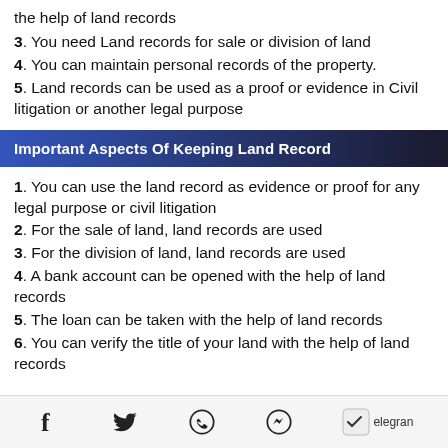the help of land records
3. You need Land records for sale or division of land
4. You can maintain personal records of the property.
5. Land records can be used as a proof or evidence in Civil litigation or another legal purpose
Important Aspects Of Keeping Land Record
1. You can use the land record as evidence or proof for any legal purpose or civil litigation
2. For the sale of land, land records are used
3. For the division of land, land records are used
4. A bank account can be opened with the help of land records
5. The loan can be taken with the help of land records
6. You can verify the title of your land with the help of land records
Social share icons: Facebook, Twitter, WhatsApp, Messenger, Telegram